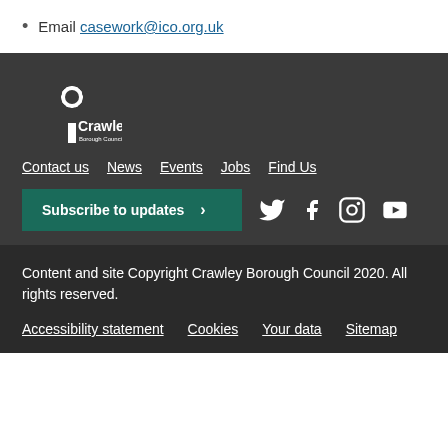Email casework@ico.org.uk
[Figure (logo): Crawley Borough Council tree logo with white tree/flower icon and text 'Crawley Borough Council']
Contact us  News  Events  Jobs  Find Us
Subscribe to updates  > (button with Twitter, Facebook, Instagram, YouTube icons)
Content and site Copyright Crawley Borough Council 2020. All rights reserved.
Accessibility statement  Cookies  Your data  Sitemap